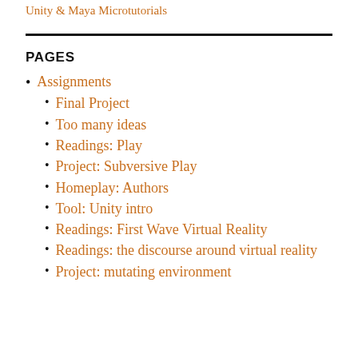Unity & Maya Microtutorials
PAGES
Assignments
Final Project
Too many ideas
Readings: Play
Project: Subversive Play
Homeplay: Authors
Tool: Unity intro
Readings: First Wave Virtual Reality
Readings: the discourse around virtual reality
Project: mutating environment